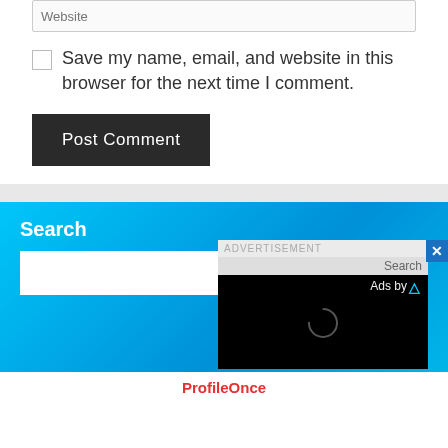Website
Save my name, email, and website in this browser for the next time I comment.
Post Comment
Search
[Figure (screenshot): Advertisement overlay popup with black video player area showing spinner, 'Ads by' text, and close button]
ProfileOnce